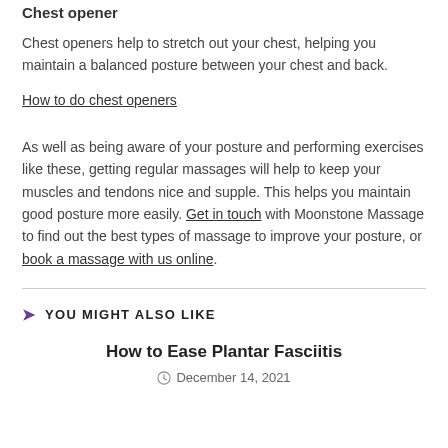Chest opener
Chest openers help to stretch out your chest, helping you maintain a balanced posture between your chest and back.
How to do chest openers
As well as being aware of your posture and performing exercises like these, getting regular massages will help to keep your muscles and tendons nice and supple. This helps you maintain good posture more easily. Get in touch with Moonstone Massage to find out the best types of massage to improve your posture, or book a massage with us online.
YOU MIGHT ALSO LIKE
How to Ease Plantar Fasciitis
December 14, 2021